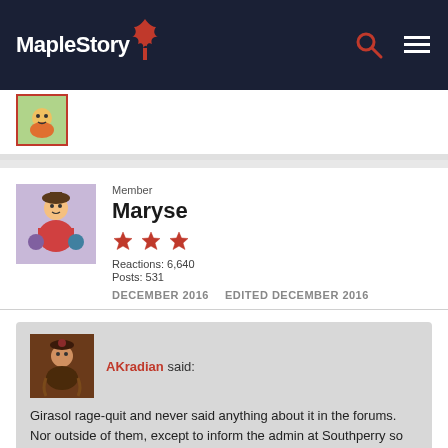MapleStory
[Figure (screenshot): Previous post avatar showing a green cartoon character]
Member
Maryse
Reactions: 6,640
Posts: 531
DECEMBER 2016   EDITED DECEMBER 2016
AKradian said:
Girasol rage-quit and never said anything about it in the forums. Nor outside of them, except to inform the admin at Southperry so he could disable her special account.
Shoot, didn't mean to double post.